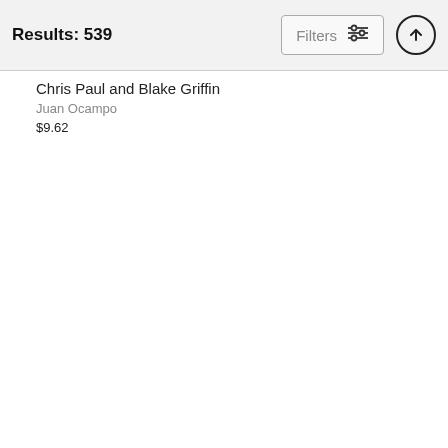Results: 539
Filters
Chris Paul and Blake Griffin
Juan Ocampo
$9.62